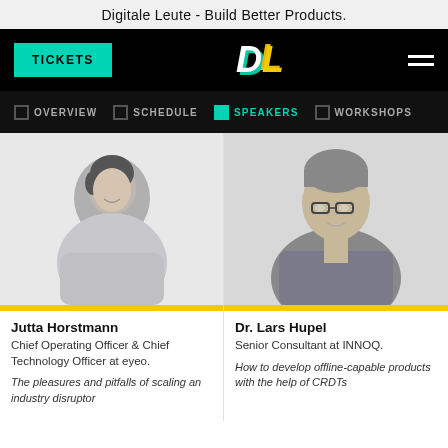Digitale Leute - Build Better Products.
[Figure (screenshot): Navigation bar with TICKETS button, DL logo, and hamburger menu on black background]
[Figure (screenshot): Sub-navigation with OVERVIEW, SCHEDULE, SPEAKERS (active), WORKSHOPS tabs]
[Figure (photo): Grayscale photo of Jutta Horstmann, smiling woman with short dark hair]
Jutta Horstmann
Chief Operating Officer & Chief Technology Officer at eyeo.
The pleasures and pitfalls of scaling an industry disruptor
[Figure (photo): Grayscale photo of Dr. Lars Hupel, man with glasses]
Dr. Lars Hupel
Senior Consultant at INNOQ.
How to develop offline-capable products with the help of CRDTs